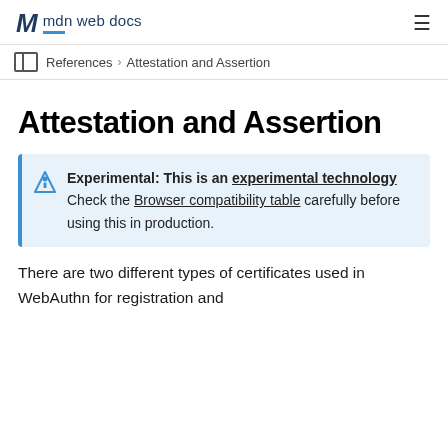mdn web docs
References > Attestation and Assertion
Attestation and Assertion
Experimental: This is an experimental technology Check the Browser compatibility table carefully before using this in production.
There are two different types of certificates used in WebAuthn for registration and